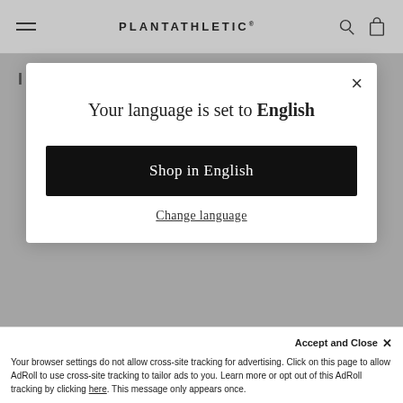PLANTATHLETIC®
IMPROVED MID SECTION
[Figure (screenshot): Modal dialog overlay on e-commerce site showing language selection. Contains close button (×), text 'Your language is set to English', a black 'Shop in English' button, and a 'Change language' link.]
conditions. A zipper that you can slide up and down easily with one hand and that auto-locks to avoid unwanted slipping. We also added a clean,
comfortable and easy to use a pulley
Accept and Close ×
Your browser settings do not allow cross-site tracking for advertising. Click on this page to allow AdRoll to use cross-site tracking to tailor ads to you. Learn more or opt out of this AdRoll tracking by clicking here. This message only appears once.